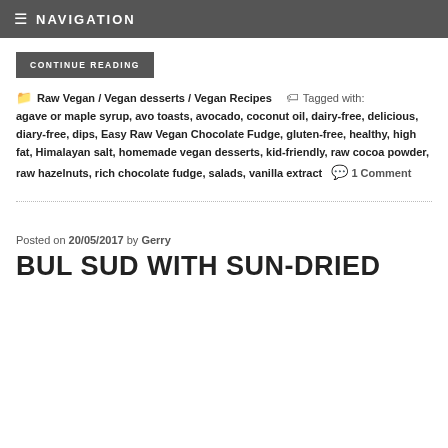≡ NAVIGATION
CONTINUE READING
Raw Vegan / Vegan desserts / Vegan Recipes   Tagged with: agave or maple syrup, avo toasts, avocado, coconut oil, dairy-free, delicious, diary-free, dips, Easy Raw Vegan Chocolate Fudge, gluten-free, healthy, high fat, Himalayan salt, homemade vegan desserts, kid-friendly, raw cocoa powder, raw hazelnuts, rich chocolate fudge, salads, vanilla extract   1 Comment
Posted on 20/05/2017 by Gerry
BUL SUD WITH SUN-DRIED